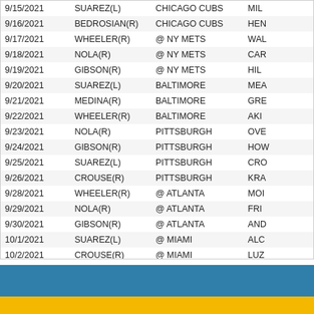| Date | Pitcher | Opponent |  |
| --- | --- | --- | --- |
| 9/15/2021 | SUAREZ(L) | CHICAGO CUBS | MIL |
| 9/16/2021 | BEDROSIAN(R) | CHICAGO CUBS | HEN |
| 9/17/2021 | WHEELER(R) | @ NY METS | WAL |
| 9/18/2021 | NOLA(R) | @ NY METS | CAR |
| 9/19/2021 | GIBSON(R) | @ NY METS | HIL |
| 9/20/2021 | SUAREZ(L) | BALTIMORE | MEA |
| 9/21/2021 | MEDINA(R) | BALTIMORE | GRE |
| 9/22/2021 | WHEELER(R) | BALTIMORE | AKI |
| 9/23/2021 | NOLA(R) | PITTSBURGH | OVE |
| 9/24/2021 | GIBSON(R) | PITTSBURGH | HOW |
| 9/25/2021 | SUAREZ(L) | PITTSBURGH | CRO |
| 9/26/2021 | CROUSE(R) | PITTSBURGH | KRA |
| 9/28/2021 | WHEELER(R) | @ ATLANTA | MOI |
| 9/29/2021 | NOLA(R) | @ ATLANTA | FRI |
| 9/30/2021 | GIBSON(R) | @ ATLANTA | AND |
| 10/1/2021 | SUAREZ(L) | @ MIAMI | ALC |
| 10/2/2021 | CROUSE(R) | @ MIAMI | LUZ |
| 10/3/2021 | WHEELER(R) | @ MIAMI | ROC |
[Figure (other): Blue and gold colored banner/footer block with two horizontal color bands]